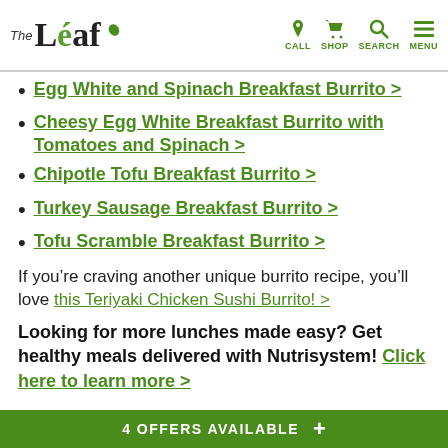The Leaf | CALL SHOP SEARCH MENU
Egg White and Spinach Breakfast Burrito >
Cheesy Egg White Breakfast Burrito with Tomatoes and Spinach >
Chipotle Tofu Breakfast Burrito >
Turkey Sausage Breakfast Burrito >
Tofu Scramble Breakfast Burrito >
If you’re craving another unique burrito recipe, you’ll love this Teriyaki Chicken Sushi Burrito! >
Looking for more lunches made easy? Get healthy meals delivered with Nutrisystem! Click here to learn more >
4 OFFERS AVAILABLE +